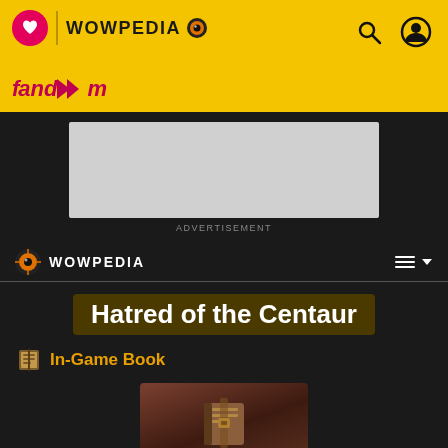WOWPEDIA
[Figure (screenshot): Wowpedia wiki page for 'Hatred of the Centaur' on Fandom, showing top yellow navigation bar with Wowpedia logo, advertisement placeholder, wiki navigation bar, page title 'Hatred of the Centaur', In-Game Book label, and a game screenshot of a book item.]
Hatred of the Centaur
In-Game Book